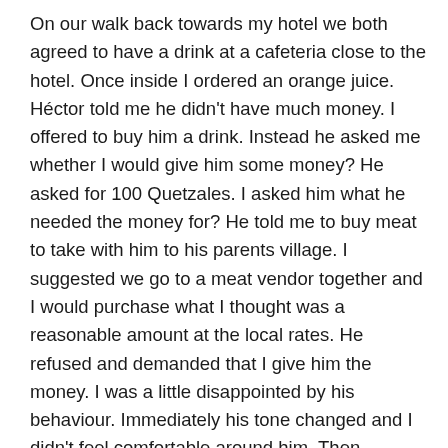On our walk back towards my hotel we both agreed to have a drink at a cafeteria close to the hotel. Once inside I ordered an orange juice. Héctor told me he didn't have much money. I offered to buy him a drink. Instead he asked me whether I would give him some money? He asked for 100 Quetzales. I asked him what he needed the money for? He told me to buy meat to take with him to his parents village. I suggested we go to a meat vendor together and I would purchase what I thought was a reasonable amount at the local rates. He refused and demanded that I give him the money. I was a little disappointed by his behaviour. Immediately his tone changed and I didn't feel comfortable around him. Then apropos of nothing, he got up, shouted something in rapid Spanish about the Guatemalan civil war and stormed out of the cafeteria. For about five minutes I felt very shaken. Moreover, I was tired and depressed. The site of Guate, even under a pristine